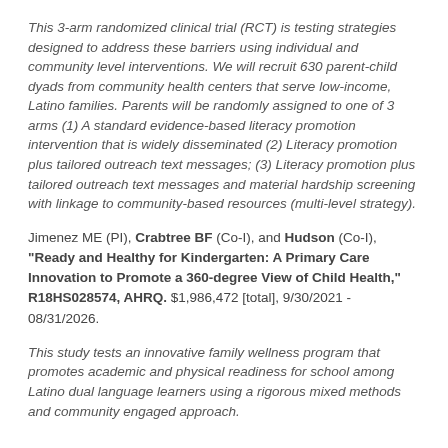This 3-arm randomized clinical trial (RCT) is testing strategies designed to address these barriers using individual and community level interventions. We will recruit 630 parent-child dyads from community health centers that serve low-income, Latino families. Parents will be randomly assigned to one of 3 arms (1) A standard evidence-based literacy promotion intervention that is widely disseminated (2) Literacy promotion plus tailored outreach text messages; (3) Literacy promotion plus tailored outreach text messages and material hardship screening with linkage to community-based resources (multi-level strategy).
Jimenez ME (PI), Crabtree BF (Co-I), and Hudson (Co-I), "Ready and Healthy for Kindergarten: A Primary Care Innovation to Promote a 360-degree View of Child Health," R18HS028574, AHRQ. $1,986,472 [total], 9/30/2021 - 08/31/2026.
This study tests an innovative family wellness program that promotes academic and physical readiness for school among Latino dual language learners using a rigorous mixed methods and community engaged approach.